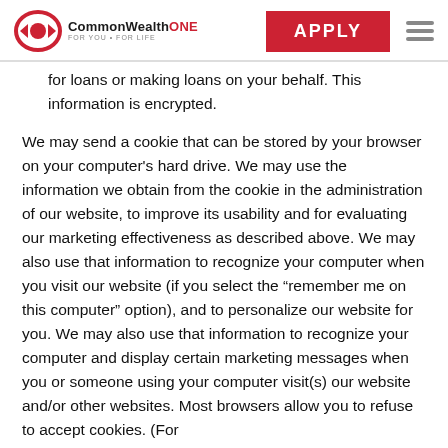CommonWealthONE FOR YOU • FOR LIFE | APPLY
for loans or making loans on your behalf. This information is encrypted.
We may send a cookie that can be stored by your browser on your computer's hard drive. We may use the information we obtain from the cookie in the administration of our website, to improve its usability and for evaluating our marketing effectiveness as described above. We may also use that information to recognize your computer when you visit our website (if you select the “remember me on this computer” option), and to personalize our website for you. We may also use that information to recognize your computer and display certain marketing messages when you or someone using your computer visit(s) our website and/or other websites. Most browsers allow you to refuse to accept cookies. (For